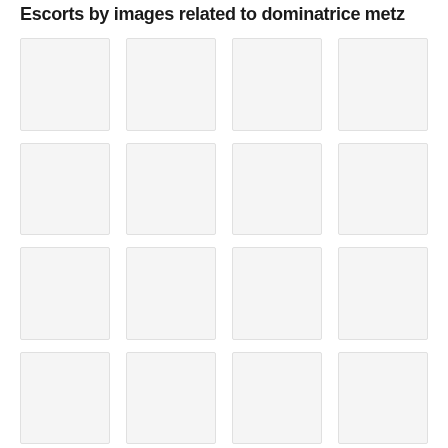Escorts by images related to dominatrice metz
[Figure (photo): Image placeholder 1 - light gray box]
[Figure (photo): Image placeholder 2 - light gray box]
[Figure (photo): Image placeholder 3 - light gray box]
[Figure (photo): Image placeholder 4 - light gray box]
[Figure (photo): Image placeholder 5 - light gray box]
[Figure (photo): Image placeholder 6 - light gray box]
[Figure (photo): Image placeholder 7 - light gray box]
[Figure (photo): Image placeholder 8 - light gray box]
[Figure (photo): Image placeholder 9 - light gray box]
[Figure (photo): Image placeholder 10 - light gray box]
[Figure (photo): Image placeholder 11 - light gray box]
[Figure (photo): Image placeholder 12 - light gray box]
[Figure (photo): Image placeholder 13 - light gray box]
[Figure (photo): Image placeholder 14 - light gray box]
[Figure (photo): Image placeholder 15 - light gray box]
[Figure (photo): Image placeholder 16 - light gray box]